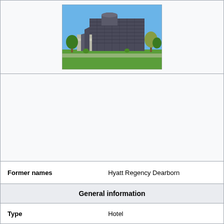[Figure (photo): Photograph of a large modern hotel building (Hyatt Regency Dearborn / The Henry Hotel) with a stepped dark facade, cylindrical tower element, trees in foreground, and green lawn, under a clear blue sky.]
| Former names | Hyatt Regency Dearborn |
| --- | --- |
| General information |  |
| Type | Hotel |